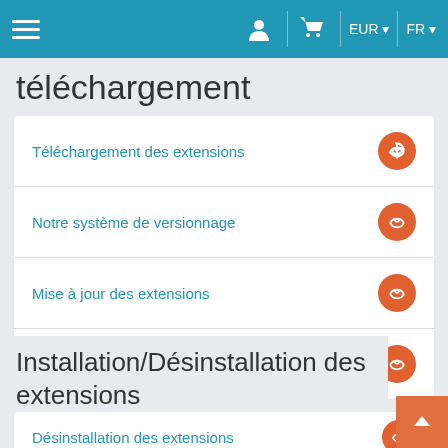Navigation bar with hamburger menu, user icon, cart icon, EUR, FR
téléchargement
Téléchargement des extensions
Notre système de versionnage
Mise à jour des extensions
Patchs pour corrections et bugs
Installation/Désinstallation des extensions
Désinstallation des extensions